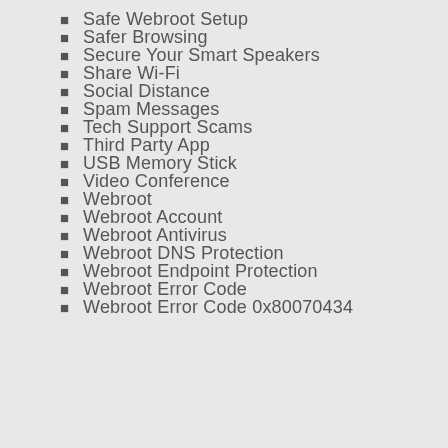Safe Webroot Setup
Safer Browsing
Secure Your Smart Speakers
Share Wi-Fi
Social Distance
Spam Messages
Tech Support Scams
Third Party App
USB Memory Stick
Video Conference
Webroot
Webroot Account
Webroot Antivirus
Webroot DNS Protection
Webroot Endpoint Protection
Webroot Error Code
Webroot Error Code 0x80070434